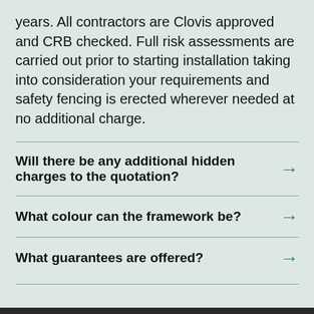years. All contractors are Clovis approved and CRB checked. Full risk assessments are carried out prior to starting installation taking into consideration your requirements and safety fencing is erected wherever needed at no additional charge.
Will there be any additional hidden charges to the quotation?
What colour can the framework be?
What guarantees are offered?